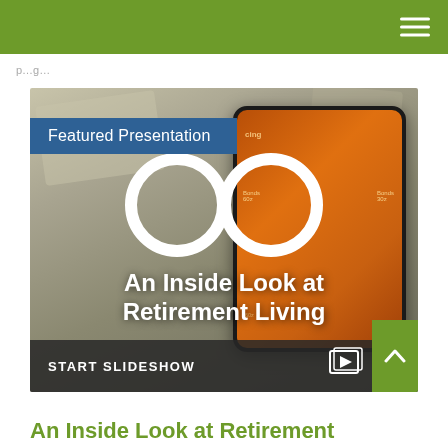p...g...
[Figure (screenshot): Featured Presentation slideshow screenshot showing a tablet with an orange-colored display, overlaid with large white glasses icon, and the text 'An Inside Look at Retirement Living'. A dark bottom bar reads 'START SLIDESHOW' with a slideshow icon. A green up-arrow button is on the bottom right.]
An Inside Look at Retirement